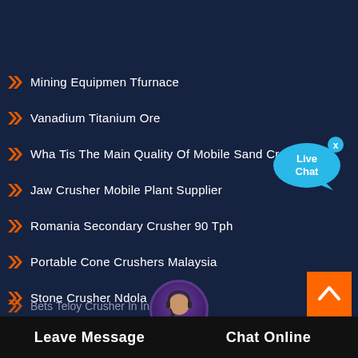Mining Equipmen Tfurnace
Vanadium Titanium Ore
Wha Tis The Main Quality Of Mobile Sand Crusher
Jaw Crusher Mobile Plant Supplier
Romania Secondary Crusher 90 Tph
Portable Cone Crushers Malaysia
Stone Crusher Ndola
Bets Teloy Crusher In Indonesia
[Figure (illustration): Live Chat bubble icon in blue with 'Live Chat' text and an X close button]
[Figure (illustration): Orange back-to-top button with upward chevron arrow]
[Figure (photo): Customer service representative avatar in circular frame at bottom center]
Leave Message   Chat Online